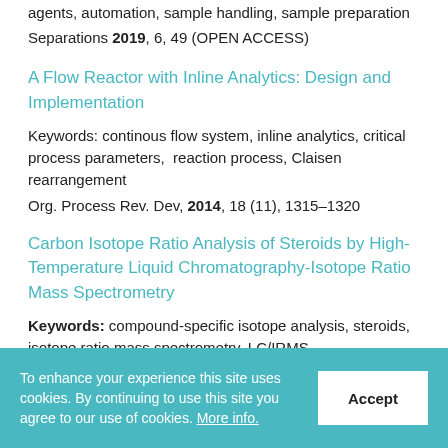agents, automation, sample handling, sample preparation
Separations 2019, 6, 49 (OPEN ACCESS)
A Flow Reactor with Inline Analytics: Design and Implementation
Keywords: continous flow system, inline analytics, critical process parameters, reaction process, Claisen rearrangement
Org. Process Rev. Dev, 2014, 18 (11), 1315–1320
Carbon Isotope Ratio Analysis of Steroids by High-Temperature Liquid Chromatography-Isotope Ratio Mass Spectrometry
Keywords: compound-specific isotope analysis, steroids, isotope ratio mass spectrometry, LC/IRMS
To enhance your experience this site uses cookies. By continuing to use this site you agree to our use of cookies. More info.